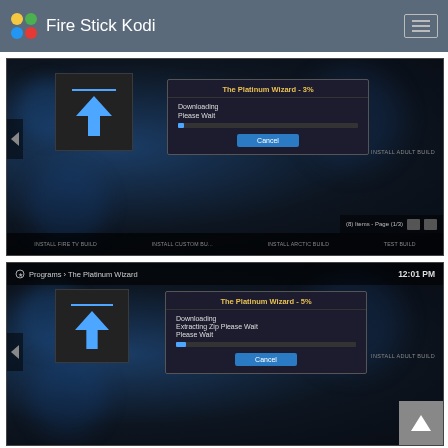Fire Stick Kodi
[Figure (screenshot): Kodi Platinum Wizard downloading screen at 3% with progress dialog showing 'Downloading' and 'Please Wait' with Cancel button, and bottom navigation showing INSTALL FIRE TV BUILD, INSTALL CUSTOM BU..., INSTALL ARCTIC BUILD, TEST BUILD]
[Figure (screenshot): Kodi Platinum Wizard downloading screen at 5% with progress dialog showing 'Downloading', 'Extracting Zip Please Wait', 'Please Wait' with Cancel button. Top bar shows Programs > The Platinum Wizard and time 12:01 PM]